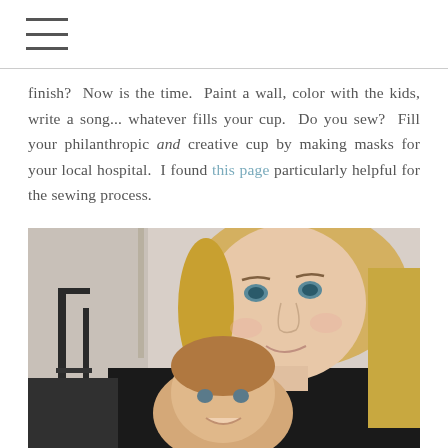☰ (hamburger menu icon)
finish?  Now is the time.  Paint a wall, color with the kids, write a song... whatever fills your cup.  Do you sew?  Fill your philanthropic and creative cup by making masks for your local hospital.  I found this page particularly helpful for the sewing process.
[Figure (photo): A selfie photo of a blonde woman smiling, holding a young toddler child. The woman is wearing black and has long blonde hair. The toddler has light brown hair. Background shows what appears to be an indoor home setting with a chair visible.]